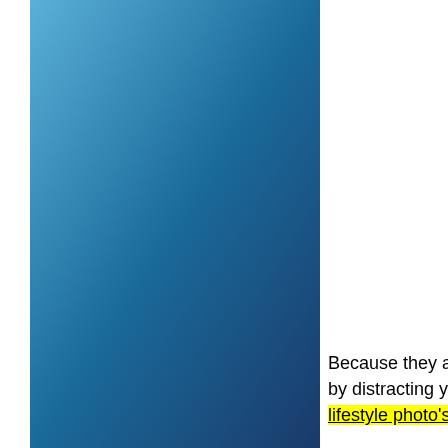If you are a Total Newbie and don't know what we mean by automated income, or you are not 100% sure why you should NEVER buy another 'Get Rich Quick' course... (Keep reading!)
Ever Wonder Why Most Marketers Only Seem to Show Their Clickbank Accounts... (or Maybe Even Yours?)
Because they are peddling a worthless dream by distracting you with distorted "lavish lifestyle photo's", and "paid for" testimonials...
We have all done it. We heard about people starting from nothing and then building them selves a hugely profitable Internet venture that now seems to be making them money every day... virtually on "auto-pilot"...